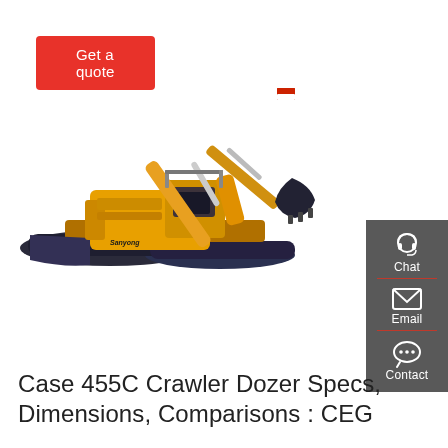Get a quote
[Figure (photo): Yellow Sany/Lonking brand crawler excavator on white background, side-angled view showing boom arm, cab, tracks and bucket]
[Figure (infographic): Dark grey sidebar with Chat (headset icon), Email (envelope icon), and Contact (speech bubble icon) options separated by red dividers]
Case 455C Crawler Dozer Specs, Dimensions, Comparisons : CEG